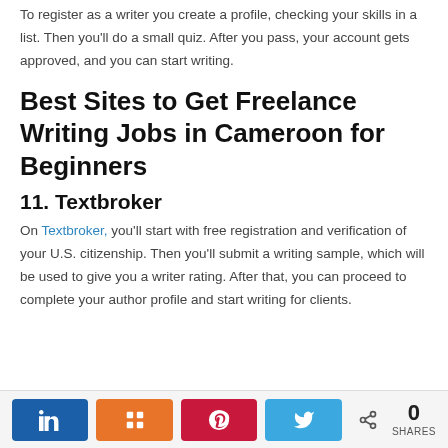To register as a writer you create a profile, checking your skills in a list. Then you'll do a small quiz. After you pass, your account gets approved, and you can start writing.
Best Sites to Get Freelance Writing Jobs in Cameroon for Beginners
11. Textbroker
On Textbroker, you'll start with free registration and verification of your U.S. citizenship. Then you'll submit a writing sample, which will be used to give you a writer rating. After that, you can proceed to complete your author profile and start writing for clients.
[Figure (infographic): Social share bar with LinkedIn, Mix, Pinterest, and Twitter buttons, plus a share count of 0 SHARES]